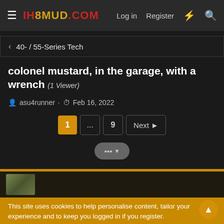IH8MUD.COM  Log in  Register
40- / 55-Series Tech
colonel mustard, in the garage, with a wrench (1 Viewer)
asu4runner · Feb 16, 2022
1 ... 9 Next
This site uses cookies to help personalise content, tailor your experience and to keep you logged in if you register. By continuing to use this site, you are consenting to our use of cookies.
✓ Accept  Learn more...